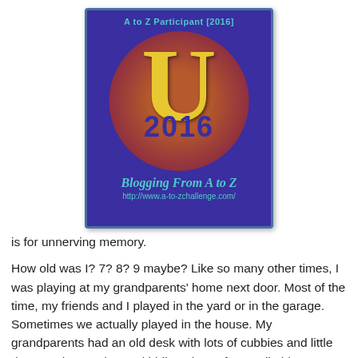[Figure (logo): A to Z Participant 2016 badge with large yellow U letter, circular coin-style design, purple background, teal text reading 'Blogging From A to Z' and URL 'http://www.a-to-zchallenge.com/']
is for unnerving memory.
How old was I? 7? 8? 9 maybe? Like so many other times, I was playing at my grandparents' home next door. Most of the time, my friends and I played in the yard or in the garage. Sometimes we actually played in the house. My grandparents had an old desk with lots of cubbies and little drawers that made good hiding places for small objects; one of us would hide something and the other would try to guess where.